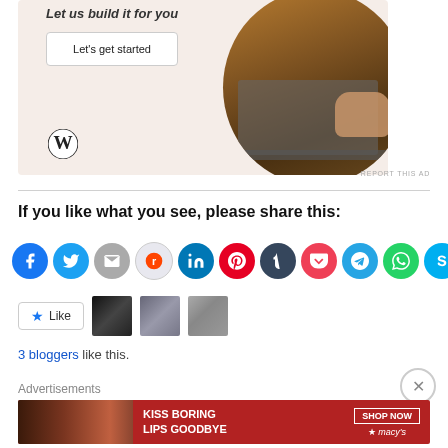[Figure (photo): WordPress advertisement with 'Let us build it for you' text, 'Let's get started' button, WordPress logo, and circular image of person using laptop]
REPORT THIS AD
If you like what you see, please share this:
[Figure (infographic): Social media sharing icons row: Facebook, Twitter, Email, Reddit, LinkedIn, Pinterest, Tumblr, Pocket, Telegram, WhatsApp, Skype]
[Figure (infographic): Like button with star icon and three blogger thumbnail images]
3 bloggers like this.
Advertisements
[Figure (photo): Macy's advertisement: KISS BORING LIPS GOODBYE with SHOP NOW button and Macy's logo]